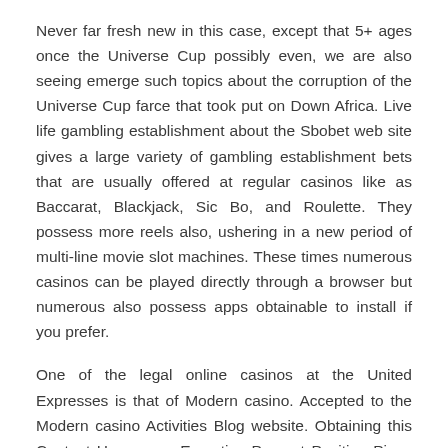Never far fresh new in this case, except that 5+ ages once the Universe Cup possibly even, we are also seeing emerge such topics about the corruption of the Universe Cup farce that took put on Down Africa. Live life gambling establishment about the Sbobet web site gives a large variety of gambling establishment bets that are usually offered at regular casinos like as Baccarat, Blackjack, Sic Bo, and Roulette. They possess more reels also, ushering in a new period of multi-line movie slot machines. These times numerous casinos can be played directly through a browser but numerous also possess apps obtainable to install if you prefer.
One of the legal online casinos at the United Expresses is that of Modern casino. Accepted to the Modern casino Activities Blog website. Obtaining this Content Hour or so Expertise Prevent Position Piece of